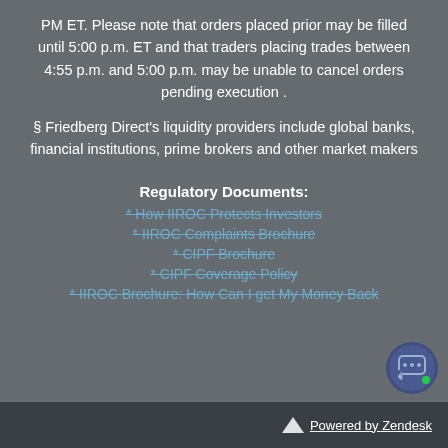PM ET. Please note that orders placed prior may be filled until 5:00 p.m. ET and that traders placing trades between 4:55 p.m. and 5:00 p.m. may be unable to cancel orders pending execution .
§ Friedberg Direct's liquidity providers include global banks, financial institutions, prime brokers and other market makers
Regulatory Documents:
* How IIROC Protects Investors
* IIROC Complaints Brochure
* CIPF Brochure
* CIPF Coverage Policy
* IIROC Brochure: How Can I get My Money Back
Powered by Zendesk